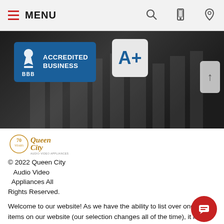MENU
[Figure (screenshot): Hero banner with BBB Accredited Business badge and A+ rating badge on dark background]
[Figure (logo): Queen City Audio Video Appliances 70th anniversary logo]
© 2022 Queen City Audio Video Appliances All Rights Reserved.
Welcome to our website! As we have the ability to list over one million items on our website (our selection changes all of the time), it is not feasible for a company our size to record and playback the descriptions on every item on our website. However, if you are an American with a disability we are here to help you. Please call our disability services phone line at 704-391-6000 during regular business hours and one of our kind and friendly personal shoppers will help you navigate through our